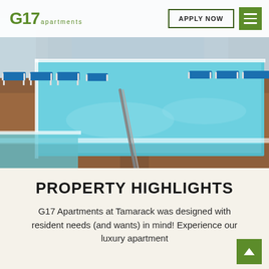G17 apartments | APPLY NOW
[Figure (photo): Outdoor rooftop swimming pool with blue lounge chairs on a red/brown deck, clear turquoise water, metal handrail in foreground, urban buildings visible in background]
PROPERTY HIGHLIGHTS
G17 Apartments at Tamarack was designed with resident needs (and wants) in mind! Experience our luxury apartment